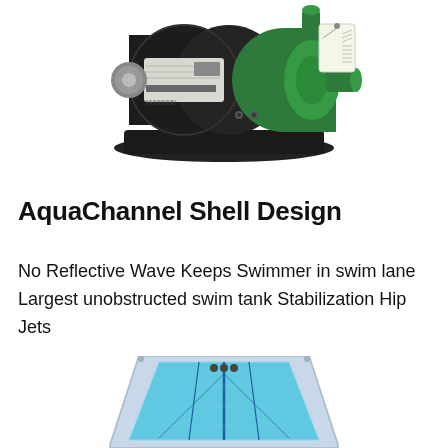[Figure (photo): Photo of a pool pump motor with black cylindrical motor body and green pump head, mounted on a black base. Label/sticker visible on motor body.]
AquaChannel Shell Design
No Reflective Wave Keeps Swimmer in swim lane Largest unobstructed swim tank Stabilization Hip Jets
[Figure (photo): Photo of a swim spa or swim tank shell viewed from above at an angle, showing a blue interior with swim lane markings and jets visible at the end.]